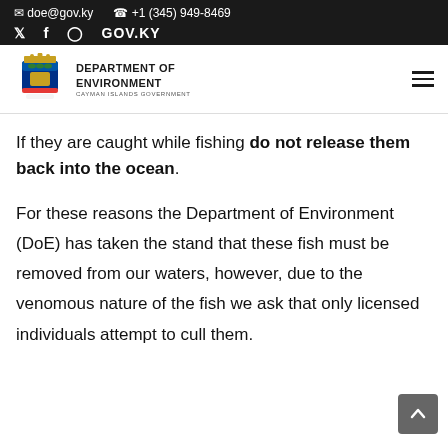doe@gov.ky  +1 (345) 949-8469  Twitter  Facebook  Instagram  GOV.KY
[Figure (logo): Cayman Islands Government coat of arms logo with 'Department of Environment, Cayman Islands Government' text]
If they are caught while fishing do not release them back into the ocean.
For these reasons the Department of Environment (DoE) has taken the stand that these fish must be removed from our waters, however, due to the venomous nature of the fish we ask that only licensed individuals attempt to cull them.